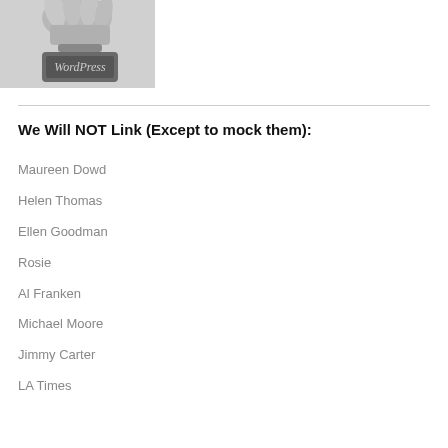[Figure (photo): A hand holding a rubber stamp with 'WordPress' text on it, black and white photo]
We Will NOT Link (Except to mock them):
Maureen Dowd
Helen Thomas
Ellen Goodman
Rosie
Al Franken
Michael Moore
Jimmy Carter
LA Times